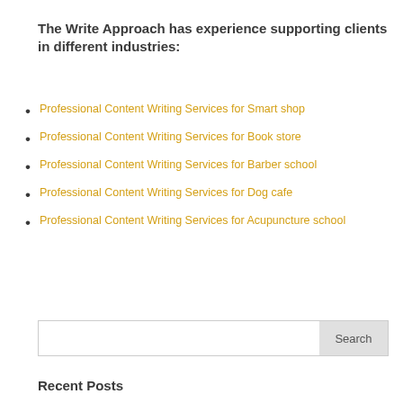The Write Approach has experience supporting clients in different industries:
Professional Content Writing Services for Smart shop
Professional Content Writing Services for Book store
Professional Content Writing Services for Barber school
Professional Content Writing Services for Dog cafe
Professional Content Writing Services for Acupuncture school
Search
Recent Posts